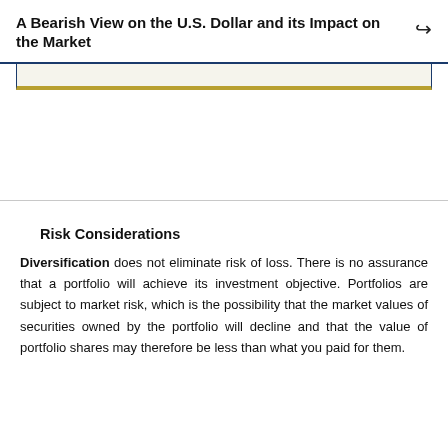A Bearish View on the U.S. Dollar and its Impact on the Market
[Figure (other): Decorative banner with blue border and gold bottom stripe]
Risk Considerations
Diversification does not eliminate risk of loss. There is no assurance that a portfolio will achieve its investment objective. Portfolios are subject to market risk, which is the possibility that the market values of securities owned by the portfolio will decline and that the value of portfolio shares may therefore be less than what you paid for them.